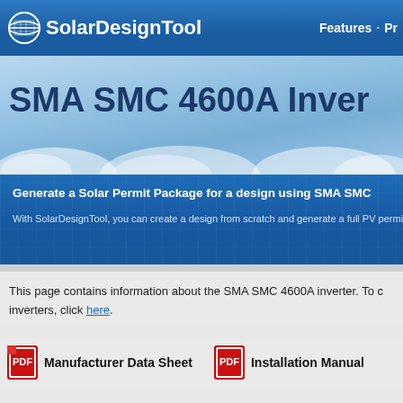[Figure (logo): SolarDesignTool logo with solar panel icon and navigation bar with Features link]
SMA SMC 4600A Inver
Generate a Solar Permit Package for a design using SMA SMC
With SolarDesignTool, you can create a design from scratch and generate a full PV permit
This page contains information about the SMA SMC 4600A inverter. To c inverters, click here.
Manufacturer Data Sheet
Installation Manual